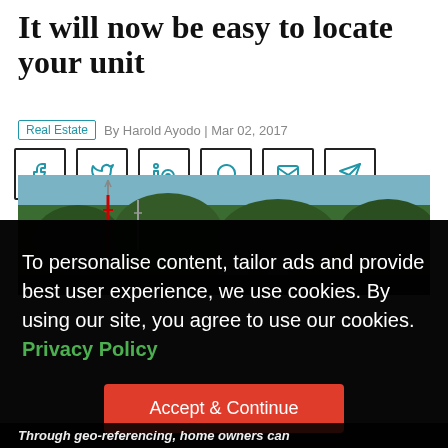It will now be easy to locate your unit
Real Estate | By Harold Ayodo | Mar 02, 2017
[Figure (screenshot): Six social media share buttons: Facebook, Twitter, LinkedIn, WhatsApp, Email, Telegram]
[Figure (photo): Aerial/rooftop view of a neighborhood with trees and communication towers]
To personalise content, tailor ads and provide best user experience, we use cookies. By using our site, you agree to use our cookies. Privacy Policy
Accept & Continue
Through geo-referencing, home owners can